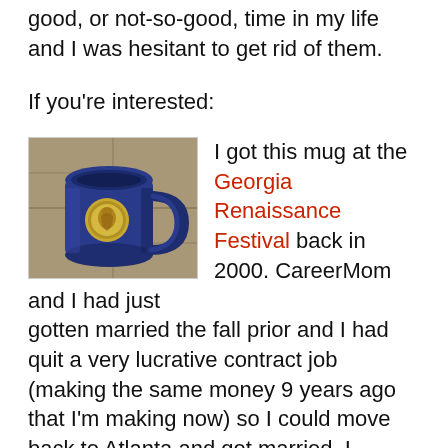good, or not-so-good, time in my life and I was hesitant to get rid of them.
If you're interested:
[Figure (photo): A blue ceramic mug with a gold medallion medallion/emblem on the front, sitting on a stone surface. The mug is large with a curved handle, appears to be from a Renaissance festival.]
I got this mug at the Georgia Renaissance Festival back in 2000. CareerMom and I had just gotten married the fall prior and I had quit a very lucrative contract job (making the same money 9 years ago that I'm making now) so I could move back to Atlanta and get married. I remember that we really didn't have much spending cash, but I really wanted one of these cool mugs (filled at the time of